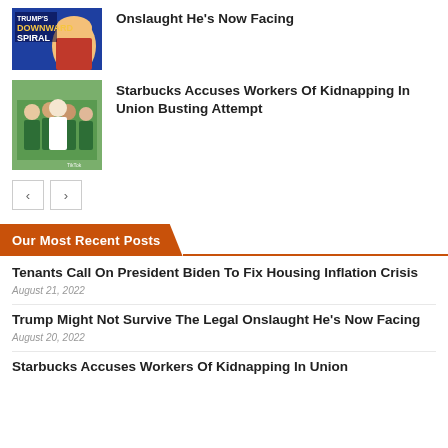[Figure (photo): Thumbnail showing Trump with 'Downward Spiral' text overlay on blue background]
Onslaught He's Now Facing
[Figure (photo): Thumbnail showing Starbucks workers in green aprons, TikTok watermark visible]
Starbucks Accuses Workers Of Kidnapping In Union Busting Attempt
Our Most Recent Posts
Tenants Call On President Biden To Fix Housing Inflation Crisis
August 21, 2022
Trump Might Not Survive The Legal Onslaught He's Now Facing
August 20, 2022
Starbucks Accuses Workers Of Kidnapping In Union